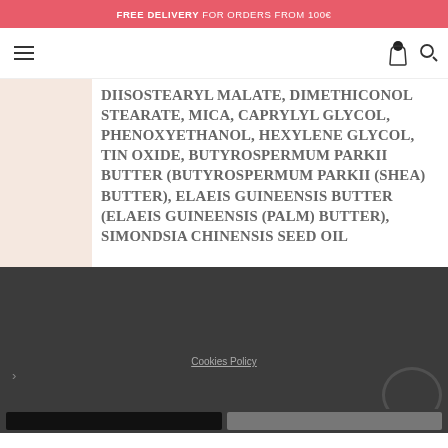FREE DELIVERY FOR ORDERS FROM 100€
[Figure (screenshot): Navigation bar with hamburger menu icon on the left and cart/search icons on the right]
DIISOSTEARYL MALATE, DIMETHICONOL STEARATE, MICA, CAPRYLYL GLYCOL, PHENOXYETHANOL, HEXYLENE GLYCOL, TIN OXIDE, BUTYROSPERMUM PARKII BUTTER (BUTYROSPERMUM PARKII (SHEA) BUTTER), ELAEIS GUINEENSIS BUTTER (ELAEIS GUINEENSIS (PALM) BUTTER), SIMONDSIA CHINENSIS SEED OIL
Cookies Policy